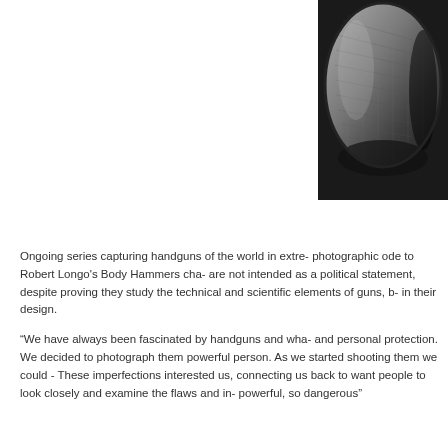[Figure (photo): Black and white close-up photograph of the bottom/grip area of a handgun, showing textured surface detail, partially cropped at top and right edges of the page]
Ongoing series capturing handguns of the world in extre- photographic ode to Robert Longo's Body Hammers cha- are not intended as a political statement, despite proving they study the technical and scientific elements of guns, b- in their design.
“We have always been fascinated by handguns and wha- and personal protection. We decided to photograph them powerful person. As we started shooting them we could - These imperfections interested us, connecting us back to want people to look closely and examine the flaws and in- powerful, so dangerous”